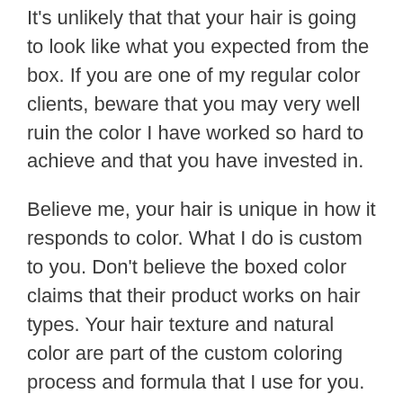It's unlikely that that your hair is going to look like what you expected from the box. If you are one of my regular color clients, beware that you may very well ruin the color I have worked so hard to achieve and that you have invested in.
Believe me, your hair is unique in how it responds to color. What I do is custom to you. Don't believe the boxed color claims that their product works on hair types. Your hair texture and natural color are part of the custom coloring process and formula that I use for you. The techniques I use to apply your color are based on decades of experience and training. The applications I use can vary by person or by each section of